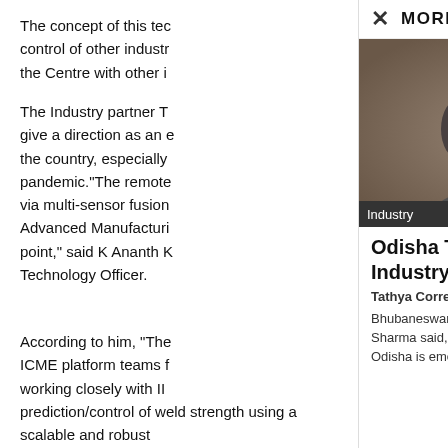The concept of this tec control of other industr the Centre with other i
The Industry partner T give a direction as an the country, especially pandemic."The remote via multi-sensor fusion Advanced Manufacturi point," said K Ananth K Technology Officer.
MORE STORIES
[Figure (photo): Close-up photo of a man with grey hair and beard, with an 'Industry' badge overlay at bottom left]
Odisha Turns Destination For Industry
Tathya Correspondent - August 25, 2021
Bhubaneswar: Principal Secretary Industries Hemanth Sharma said, from the global value chain point of vie Odisha is emerging as one of the...
According to him, "The ICME platform teams f working closely with II prediction/control of weld strength using a scalable and robust platform. Academic partnerships are an important part of TCS